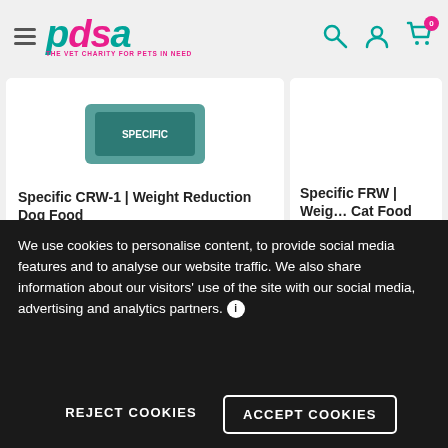[Figure (logo): PDSA logo - The Vet Charity For Pets In Need]
Specific CRW-1 | Weight Reduction Dog Food
£13.99
Specific FRW | Weight Reduction Cat Food
£23.49
We use cookies to personalise content, to provide social media features and to analyse our website traffic. We also share information about our visitors' use of the site with our social media, advertising and analytics partners.
REJECT COOKIES
ACCEPT COOKIES